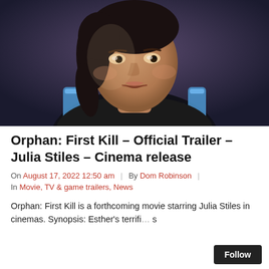[Figure (photo): Film still showing a woman with dark hair wearing a blue neck brace/cervical collar, looking upward with a slightly open mouth, dark dramatic background with purple/blue tones]
Orphan: First Kill – Official Trailer – Julia Stiles – Cinema release
On August 17, 2022 12:50 am | By Dom Robinson | In Movie, TV & game trailers, News
Orphan: First Kill is a forthcoming movie starring Julia Stiles in cinemas. Synopsis: Esther's terrifi… s